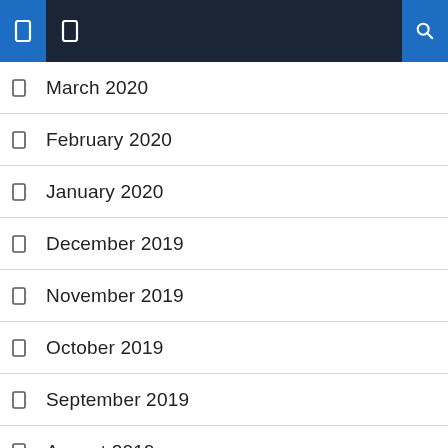Navigation bar with menu and search icons
March 2020
February 2020
January 2020
December 2019
November 2019
October 2019
September 2019
August 2019
July 2019
June 2019